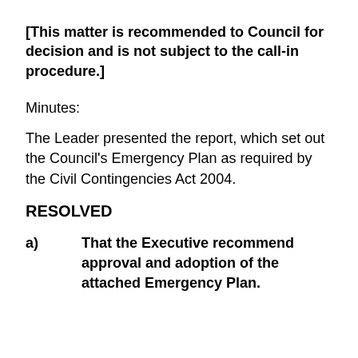[This matter is recommended to Council for decision and is not subject to the call-in procedure.]
Minutes:
The Leader presented the report, which set out the Council's Emergency Plan as required by the Civil Contingencies Act 2004.
RESOLVED
a)	That the Executive recommend approval and adoption of the attached Emergency Plan.